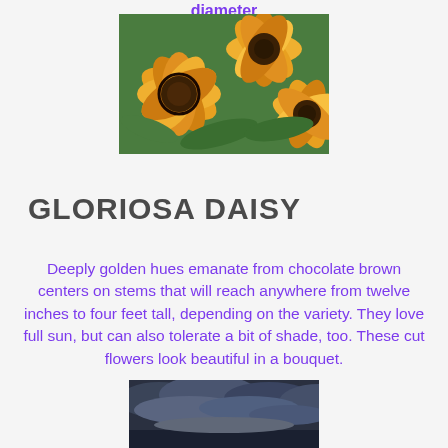diameter
[Figure (photo): Close-up photo of gloriosa daisy flowers with deeply golden/orange petals and dark chocolate brown centers, with green foliage in background]
GLORIOSA DAISY
Deeply golden hues emanate from chocolate brown centers on stems that will reach anywhere from twelve inches to four feet tall, depending on the variety. They love full sun, but can also tolerate a bit of shade, too. These cut flowers look beautiful in a bouquet.
[Figure (photo): Photo of dark cloudy sky with grey and blue storm clouds]